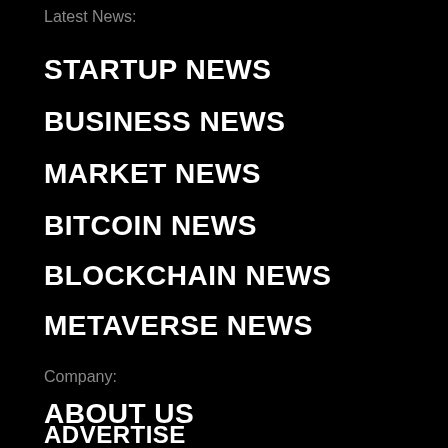Latest News:
STARTUP NEWS
BUSINESS NEWS
MARKET NEWS
BITCOIN NEWS
BLOCKCHAIN NEWS
METAVERSE NEWS
Company:
ABOUT US
ADVERTISE
EMAIL US